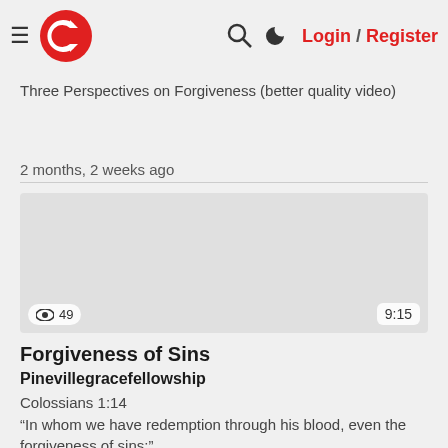Login / Register
Three Perspectives on Forgiveness (better quality video)
2 months, 2 weeks ago
[Figure (screenshot): Video thumbnail placeholder - grey rectangle with view count 49 and duration 9:15]
Forgiveness of Sins
Pinevillegracefellowship
Colossians 1:14
“In whom we have redemption through his blood, even the forgiveness of sins:”